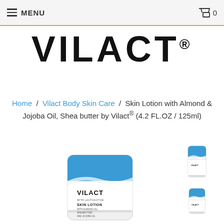MENU  0
VILACT®
Home / Vilact Body Skin Care / Skin Lotion with Almond & Jojoba Oil, Shea butter by Vilact® (4.2 FL.OZ / 125ml)
[Figure (photo): Vilact Skin Lotion tube with blue cap and white body, showing VILACT WITH LACTOACTIVE SKIN LOTION WITH ALMOND OIL, SHEABUTTER, AND JOJOBA OIL label]
[Figure (photo): Small thumbnail of Vilact Skin Lotion tube - top view]
[Figure (photo): Small thumbnail of Vilact Skin Lotion tube - side view]